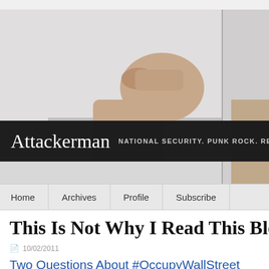[Figure (photo): Blog header image showing a tattooed arm/fist raised, with two copies side by side. Below the photo is a dark semi-transparent banner with blog title 'Attackerman' and subtitle 'NATIONAL SECURITY. PUNK ROCK. REA...']
Attackerman  NATIONAL SECURITY. PUNK ROCK. REA...
Home | Archives | Profile | Subscribe
This Is Not Why I Read This Blog, Acker...
10/02/2011
Two Questions About #OccupyWallStreet